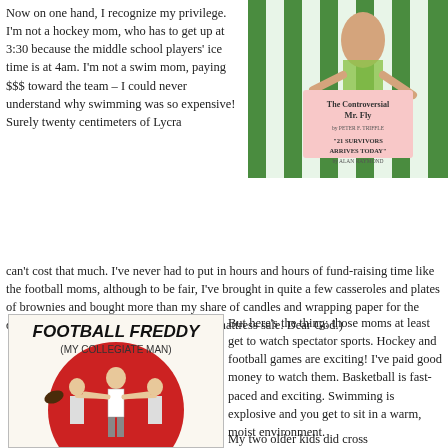[Figure (illustration): Vintage book cover or illustration with green and white striped background, showing a figure holding something. Text reads 'The Controversial Mr. Fly' and '21 Survivors Arrives Today' on a pink label.]
Now on one hand, I recognize my privilege. I'm not a hockey mom, who has to get up at 3:30 because the middle school players' ice time is at 4am. I'm not a swim mom, paying $$$ toward the team – I could never understand why swimming was so expensive! Surely twenty centimeters of Lycra can't cost that much. I've never had to put in hours and hours of fund-raising time like the football moms, although to be fair, I've brought in quite a few casseroles and plates of brownies and bought more than my share of candles and wrapping paper for the drama club. (Let's not even talk about the mattress sale. Dear God.)
[Figure (illustration): Vintage illustration titled 'Football Freddy (My Collegiate Man)' showing a young man in a red circle with two women beside him and a football.]
But here's the thing: those moms at least get to watch spectator sports. Hockey and football games are exciting! I've paid good money to watch them. Basketball is fast-paced and exciting. Swimming is explosive and you get to sit in a warm, moist environment.
My two older kids did cross